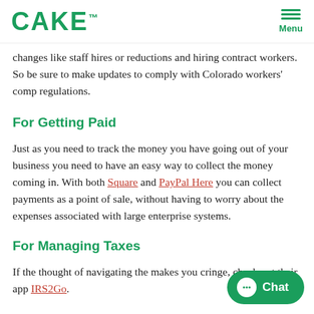CAKE™  Menu
changes like staff hires or reductions and hiring contract workers. So be sure to make updates to comply with Colorado workers' comp regulations.
For Getting Paid
Just as you need to track the money you have going out of your business you need to have an easy way to collect the money coming in. With both Square and PayPal Here you can collect payments as a point of sale, without having to worry about the expenses associated with large enterprise systems.
For Managing Taxes
If the thought of navigating the makes you cringe, check out their app IRS2Go.